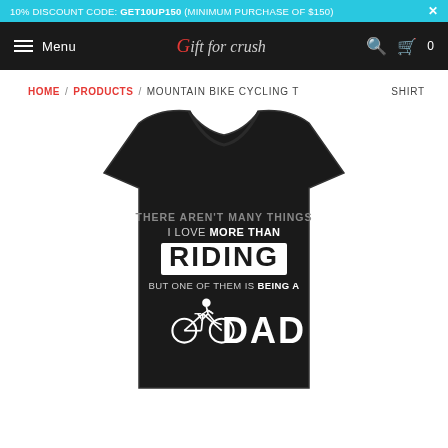10% DISCOUNT CODE: GET10UP150 (MINIMUM PURCHASE OF $150)
Menu | Gift for crush | 0
HOME / PRODUCTS / MOUNTAIN BIKE CYCLING T SHIRT
[Figure (photo): Black t-shirt with white text reading: THERE AREN'T MANY THINGS I LOVE MORE THAN RIDING BUT ONE OF THEM IS BEING A DAD, with a bicycle rider silhouette graphic]